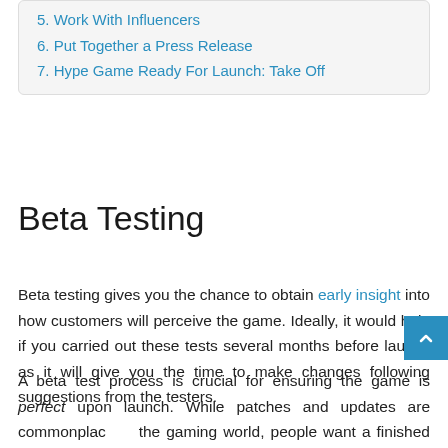5. Work With Influencers
6. Put Together a Press Release
7. Hype Game Ready For Launch: Take Off
Beta Testing
Beta testing gives you the chance to obtain early insight into how customers will perceive the game. Ideally, it would help if you carried out these tests several months before launch as it will give you the time to make changes following suggestions from the testers.
A beta test process is crucial for ensuring the game is perfect upon launch. While patches and updates are commonplace in the gaming world, people want a finished game if they are paying for it. Tests can highlight glitches and other issues that impact immersion and enjoyment, so it is beneficial to listen to